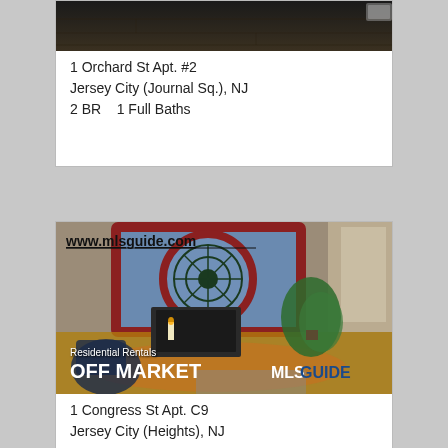[Figure (photo): Interior room photo with dark hardwood flooring, top portion visible]
1 Orchard St  Apt. #2
Jersey City (Journal Sq.), NJ
2 BR   1 Full Baths
[Figure (photo): Interior room photo showing a colorful mandala tapestry on the wall, TV on stand, green plant, and living room furniture. Watermark: www.mlsguide.com. Overlay text: Residential Rentals, OFF MARKET, MLSGUIDE logo.]
1 Congress St  Apt. C9
Jersey City (Heights), NJ